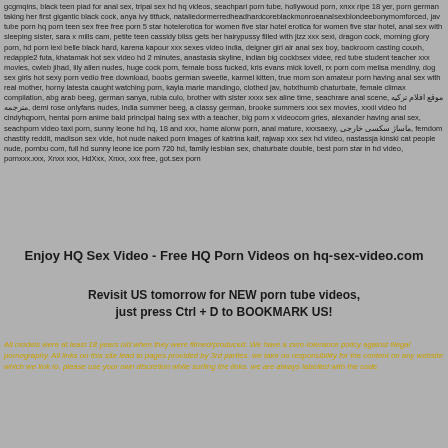gcgmqins, black teen piad for anal sex, tripai sex hd hq videos, seachpari porn tube, hollywoud porn, xnxx ripe 18 yer, porn german taking her first gigantic black cock, anya ivy titfuck, nataliedormerredheadhardcoreblackmonroeanaIsexblondeebonymomforced, jav tube porn hq porn teen sex free free porn 5 star hotelerotica for women five star hotel erotica for women five star hotel, anal sex with sleeping sister, sara x mills cam, petite teen cassidy bliss gets her hairypussy filled with jizz xxx sexi, dragon cock, morning glory porn, hd porn lexi belle black hard, karena kapour xxx sexes video india, deigner girl air anal sex boy, backroom casting couxh, redapple2 futa, khatamak hot sex video hd 2 minutes, anastasia skyline, indian big cockbsex videe, red tube student teacher xxx movies, cwleb jihad, lily allen nudes, huge cock porn, female boss fucked, kris evans mick lovell, rx porn com melisa mendiny, dog sex girls hot sexy porn vedio free download, boobs german sweetie, karmel kitten, true mom son amateur porn having anal sex with real mother, horny latesta caught watching porn, kayla marie mandingo, clothed jav, hotxthumb chaturbate, female climax compilation, abg arab beeg, german sanya, rubia culo, brother with sister xxxx sex aline time, seachrare anal scene, موقع افلام تركيه مترجمه, demi rose onlyfans nudes, india summer beeg, a classy german, brooke summers xxx sex movies, xxxii video hd cindyhqporn, hentai porn anime bald principal haing sex with a teacher, big porn x videocom gries, alexander having anal sex, seachporn video taxi porn, sunny leone hd hq, 18 and xxx, home alonw porn, anal mature, xxxsaexy, ماساژ سکسی خارجی, femdom chastity reddit, madison sex vide, hot nude naked porn images of katrina kaif, rajwap xxx sex hd video, nastassja kinski cat people nude, pornbu com, full hd sunny leone ice porn 720 hd, family lesbian sex, chaturbate double, best porn star in hd video, pornxxx.xxx, Xnxx xxx, HdXxx, Xnxx, xxx free, got.sex porn
Enjoy HQ Sex Video - Free HQ Porn Videos on hq-sex-video.com
Revisit US tomorrow for NEW porn tube videos, just press Ctrl + D to BOOKMARK US!
All models were at least 18 years old when they were filmed/produced. We have a zero-tolerance policy against illegal pornography. All links on this site lead to pages provided by 3rd parties. we take no responsibility for the content on any website which we link to. please use your own discretion while surfing the links. we are always labelled with the code.